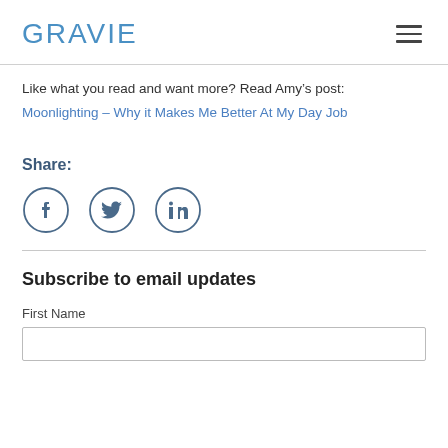GRAVIE
Like what you read and want more? Read Amy’s post:
Moonlighting – Why it Makes Me Better At My Day Job
Share:
[Figure (infographic): Social share icons: Facebook, Twitter, LinkedIn — each in a circle outline]
Subscribe to email updates
First Name